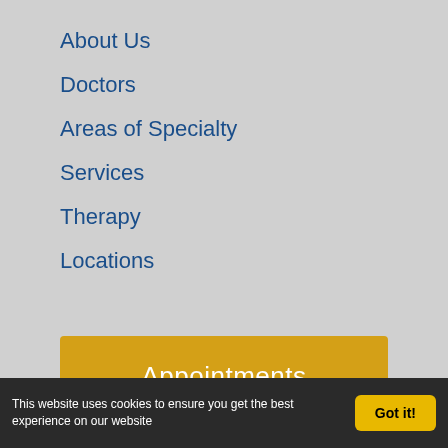About Us
Doctors
Areas of Specialty
Services
Therapy
Locations
(817) 481-2121
Appointments
This website uses cookies to ensure you get the best experience on our website
Got it!